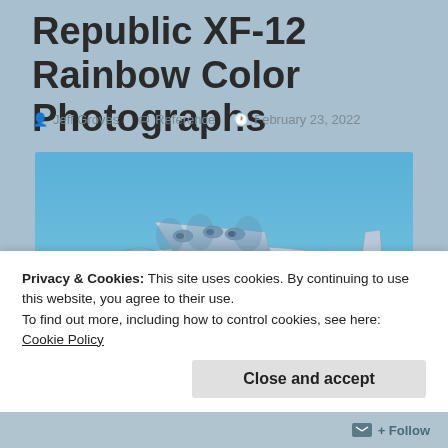Republic XF-12 Rainbow Color Photographs
Jeff Groves   Reference   February 23, 2022
[Figure (photo): Color photograph of the Republic XF-12 Rainbow aircraft in flight against a blue sky. The aircraft is a large, silver, four-engine propeller plane with a US military star insignia on the fuselage, viewed from the side.]
Privacy & Cookies: This site uses cookies. By continuing to use this website, you agree to their use.
To find out more, including how to control cookies, see here: Cookie Policy
Close and accept